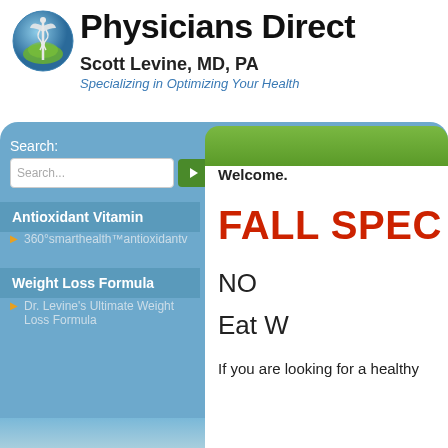Physicians Direct
Scott Levine, MD, PA
Specializing in Optimizing Your Health
[Figure (logo): Medical caduceus logo in a blue/green globe circle]
Search:
Search...
Antioxidant Vitamin
360°smarthealth™antioxidantv
Weight Loss Formula
Dr. Levine's Ultimate Weight Loss Formula
Welcome.
FALL SPEC
NO
Eat W
If you are looking for a healthy